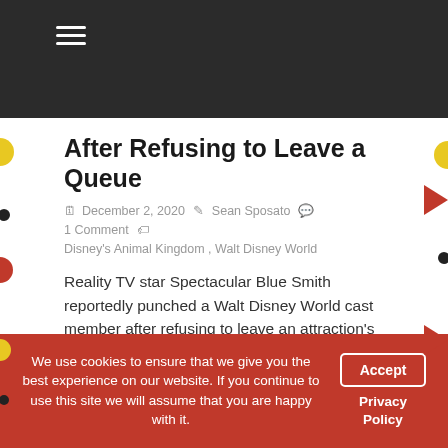≡
After Refusing to Leave a Queue
December 2, 2020 · Sean Sposato · 1 Comment
Disney's Animal Kingdom, Walt Disney World
Reality TV star Spectacular Blue Smith reportedly punched a Walt Disney World cast member after refusing to leave an attraction's
Read more
We use cookies to ensure that we give you the best experience on our website. If you continue to use this site we will assume that you are happy with it.